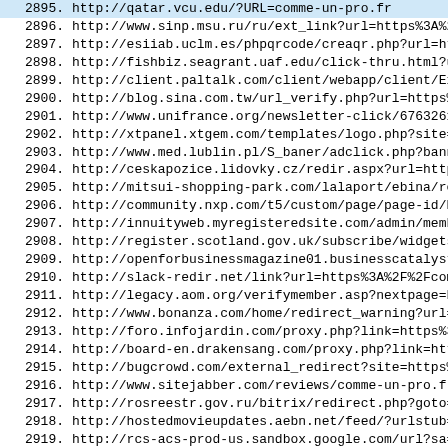2895.  http://qatar.vcu.edu/?URL=comme-un-pro.fr
2896.  http://www.sinp.msu.ru/ru/ext_link?url=https%3A%2F%
2897.  http://esiiab.uclm.es/phpqrcode/creaqr.php?url=http
2898.  http://fishbiz.seagrant.uaf.edu/click-thru.html?url
2899.  http://client.paltalk.com/client/webapp/client/Exte
2900.  http://blog.sina.com.tw/url_verify.php?url=https%3A
2901.  http://www.unifrance.org/newsletter-click/6763261?u
2902.  http://xtpanel.xtgem.com/templates/logo.php?site=co
2903.  http://www.med.lublin.pl/S_baner/adclick.php?banner
2904.  http://ceskapozice.lidovky.cz/redir.aspx?url=http%3
2905.  http://mitsui-shopping-park.com/lalaport/ebina/redi
2906.  http://community.nxp.com/t5/custom/page/page-id/Ext
2907.  http://innuityweb.myregisteredsite.com/admin/member
2908.  http://register.scotland.gov.uk/subscribe/widgetsig
2909.  http://openforbusinessmagazine01.businesscatalyst.c
2910.  http://slack-redir.net/link?url=https%3A%2F%2Fcomme
2911.  http://legacy.aom.org/verifymember.asp?nextpage=htt
2912.  http://www.bonanza.com/home/redirect_warning?url=co
2913.  http://foro.infojardin.com/proxy.php?link=https%3A%
2914.  http://board-en.drakensang.com/proxy.php?link=https
2915.  http://bugcrowd.com/external_redirect?site=https%3A
2916.  http://www.sitejabber.com/reviews/comme-un-pro.fr
2917.  http://rosreestr.gov.ru/bitrix/redirect.php?goto=ht
2918.  http://hostedmovieupdates.aebn.net/feed/?urlstub=co
2919.  http://rcs-acs-prod-us.sandbox.google.com/url?sa=i&
2920.  http://account.vfw.org/Authenticate.aspx?ReturnURL=
2921.  http://na.eventscloud.com/emarketing/go.php?i=40950
2922.  http://search.aol.com/aol/search?query=comme-un-pro
2923.  http://search.yahoo.com/search?p=comme-un-pro.fr&fr
2924.  http://search.lycos.com/web/?q=comme-un-pro.fr